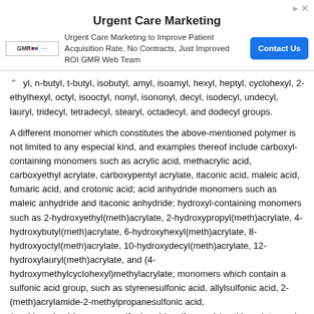[Figure (other): Advertisement banner for Urgent Care Marketing by GMR Web Team, with Contact Us button]
yl, n-butyl, t-butyl, isobutyl, amyl, isoamyl, hexyl, heptyl, cyclohexyl, 2-ethylhexyl, octyl, isooctyl, nonyl, isononyl, decyl, isodecyl, undecyl, lauryl, tridecyl, tetradecyl, stearyl, octadecyl, and dodecyl groups.
A different monomer which constitutes the above-mentioned polymer is not limited to any especial kind, and examples thereof include carboxyl-containing monomers such as acrylic acid, methacrylic acid, carboxyethyl acrylate, carboxypentyl acrylate, itaconic acid, maleic acid, fumaric acid, and crotonic acid; acid anhydride monomers such as maleic anhydride and itaconic anhydride; hydroxyl-containing monomers such as 2-hydroxyethyl(meth)acrylate, 2-hydroxypropyl(meth)acrylate, 4-hydroxybutyl(meth)acrylate, 6-hydroxyhexyl(meth)acrylate, 8-hydroxyoctyl(meth)acrylate, 10-hydroxydecyl(meth)acrylate, 12-hydroxylauryl(meth)acrylate, and (4-hydroxymethylcyclohexyl)methylacrylate; monomers which contain a sulfonic acid group, such as styrenesulfonic acid, allylsulfonic acid, 2-(meth)acrylamide-2-methylpropanesulfonic acid, (meth)acrylamidepropane sulfonic acid, sulfopropyl (meth)acrylate, and (meth)